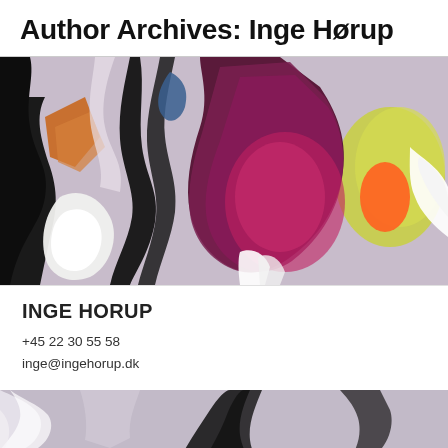Author Archives: Inge Hørup
[Figure (illustration): Abstract expressionist painting with dark brushstrokes, purple, magenta, yellow-green, orange, white and black paint strokes on a light lavender-grey background]
INGE HORUP
+45 22 30 55 58
inge@ingehorup.dk
[Figure (illustration): Partial view of another abstract painting, similar style with grey-lavender background and dark brushstrokes at the bottom of the page]